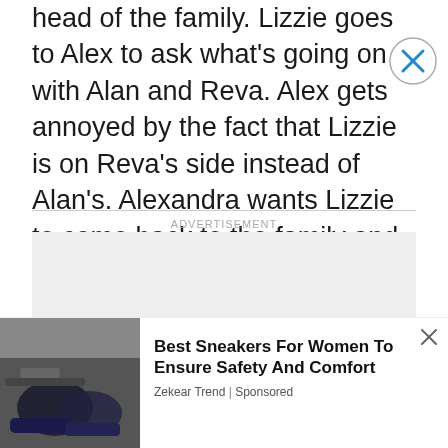head of the family. Lizzie goes to Alex to ask what's going on with Alan and Reva. Alex gets annoyed by the fact that Lizzie is on Reva's side instead of Alan's. Alexandra wants Lizzie to come back to the family and the company. Lizzie tells her 'no thanks'. Alex tells Lizzie her marriage to Cyrus has turned into more than a green card.
ADVERTISEMENT
[Figure (other): Advertisement placeholder box (gray rectangle)]
[Figure (screenshot): Bottom advertisement banner showing sneakers image on left and ad text: 'Best Sneakers For Women To Ensure Safety And Comfort' by Zekear Trend | Sponsored]